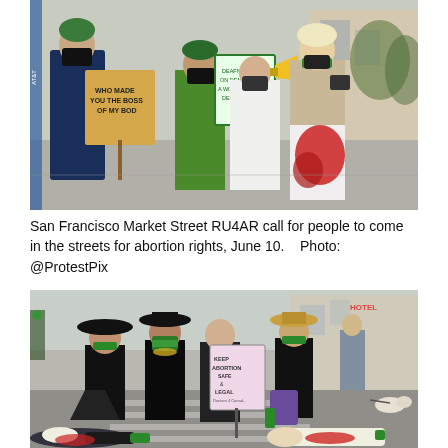[Figure (photo): Protest march on San Francisco Market Street. People wearing green scarves and black masks carry signs reading 'Who Made You The Boss Of My Body' and 'Deafness On Demand A Woman Decides'. One protester wears white pants with red paint simulating blood.]
San Francisco Market Street RU4AR call for people to come in the streets for abortion rights, June 10.    Photo: @ProtestPix
[Figure (photo): Group of protesters in black clothing and green scarves standing in a street intersection. One person holds a sign reading 'Keep Abortion Safe & Legal'. Some protesters are lying on the ground simulating being injured with red paint.]